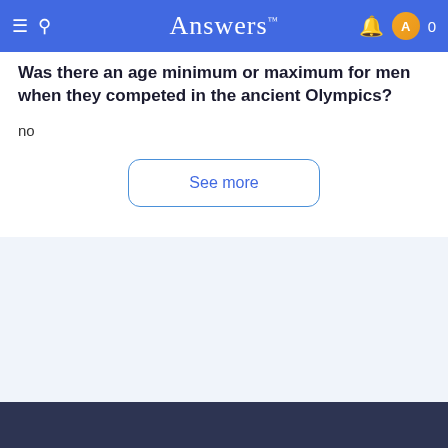Answers
Was there an age minimum or maximum for men when they competed in the ancient Olympics?
no
See more